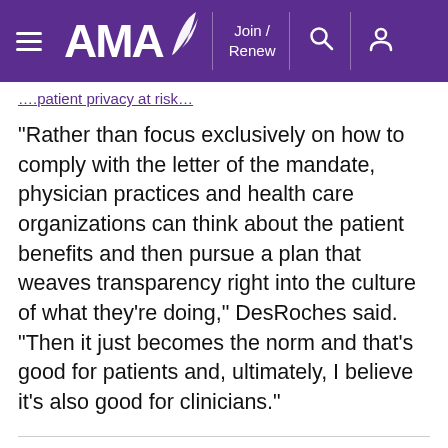AMA — Join / Renew
…patient privacy at risk…
“Rather than focus exclusively on how to comply with the letter of the mandate, physician practices and health care organizations can think about the patient benefits and then pursue a plan that weaves transparency right into the culture of what they’re doing,” DesRoches said. “Then it just becomes the norm and that’s good for patients and, ultimately, I believe it’s also good for clinicians.”
Related Coverage
Tech to give doctors secure links to social care patients need